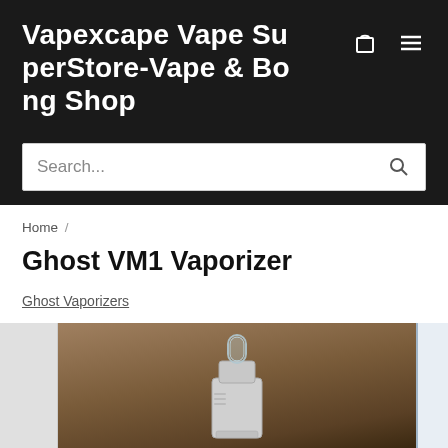Vapexcape Vape SuperStore-Vape & Bong Shop
Search...
Home /
Ghost VM1 Vaporizer
Ghost Vaporizers
[Figure (photo): Product photo of Ghost VM1 Vaporizer device, a silver/white vaporizer with a glass mouthpiece, photographed on a dark wooden background]